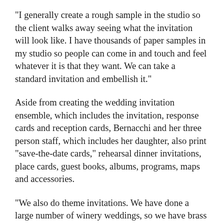"I generally create a rough sample in the studio so the client walks away seeing what the invitation will look like. I have thousands of paper samples in my studio so people can come in and touch and feel whatever it is that they want. We can take a standard invitation and embellish it."
Aside from creating the wedding invitation ensemble, which includes the invitation, response cards and reception cards, Bernacchi and her three person staff, which includes her daughter, also print "save-the-date cards," rehearsal dinner invitations, place cards, guest books, albums, programs, maps and accessories.
"We also do theme invitations. We have done a large number of winery weddings, so we have brass grape clusters we attach to invitations," Bernacchi said. "For ethnic weddings, we have done Chinese or Japanese calligraphy and incorporate those into the invitations. We have brass charms that we use on invitations and